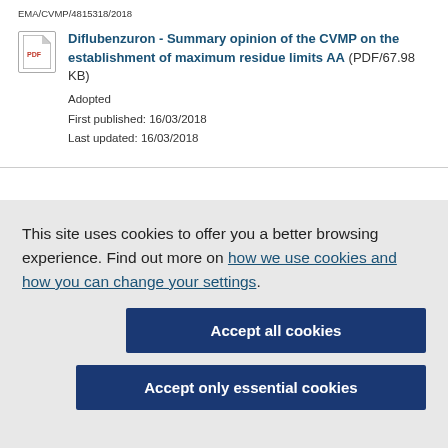EMA/CVMP/4815318/2018
Diflubenzuron - Summary opinion of the CVMP on the establishment of maximum residue limits AA (PDF/67.98 KB)
Adopted
First published: 16/03/2018
Last updated: 16/03/2018
This site uses cookies to offer you a better browsing experience. Find out more on how we use cookies and how you can change your settings.
Accept all cookies
Accept only essential cookies